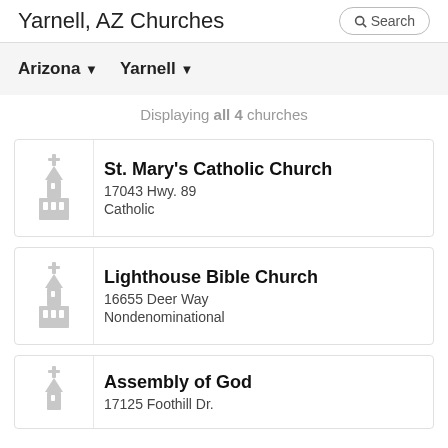Yarnell, AZ Churches
Arizona  Yarnell
Displaying all 4 churches
St. Mary's Catholic Church | 17043 Hwy. 89 | Catholic
Lighthouse Bible Church | 16655 Deer Way | Nondenominational
Assembly of God | 17125 Foothill Dr.